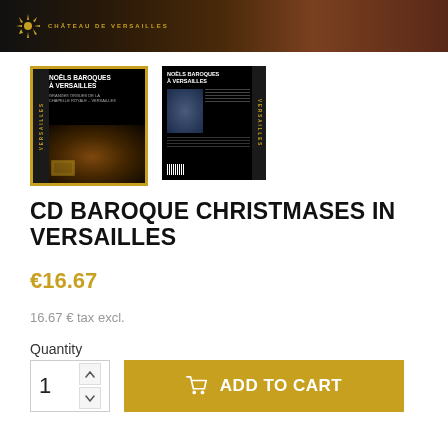[Figure (photo): Dark banner header image with Chateau de Versailles logo on left side, warm brown/dark tones]
[Figure (photo): Two CD album thumbnails for Noels Baroques a Versailles. First thumbnail (selected with gold border) shows front cover with dark artwork and gold side bar. Second thumbnail shows back cover.]
CD BAROQUE CHRISTMASES IN VERSAILLES
€16.67
16.67 € tax excl.
Quantity
1
ADD TO CART